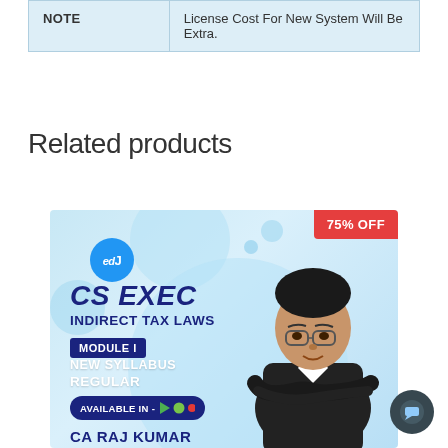| NOTE |  |
| --- | --- |
| NOTE | License Cost For New System Will Be Extra. |
Related products
[Figure (illustration): Product card for CS Exec Indirect Tax Laws course. Shows 75% OFF badge, edu logo, decorative circles, CS EXEC INDIRECT TAX LAWS text, MODULE I, NEW SYLLABUS REGULAR labels, AVAILABLE IN badge with app icons, and an instructor photo of CA RAJ KUMAR.]